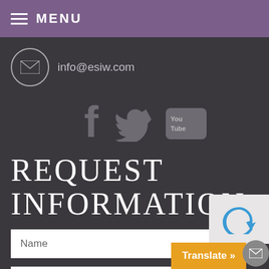MENU
info@esiw.com
[Figure (infographic): Social media icons: Facebook, Twitter, YouTube]
REQUEST INFORMATION
Name
Phone Number
Translate »